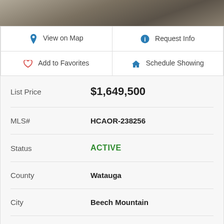[Figure (photo): Photo strip of a property or deck scene at the top of the listing page]
| View on Map | Request Info |
| Add to Favorites | Schedule Showing |
List Price  $1,649,500
MLS#  HCAOR-238256
Status  ACTIVE
County  Watauga
City  Beech Mountain
Subdivision  Pinnacle Ridge
Bedrooms  5